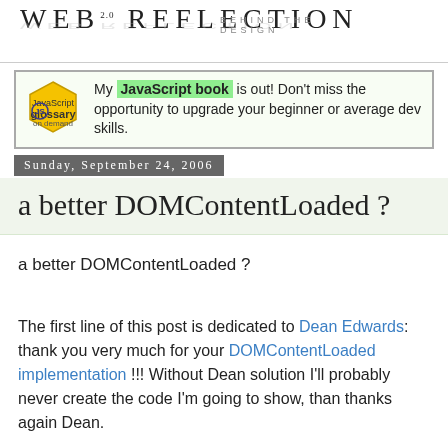WEB REFLECTION — BEHIND THE DESIGN
[Figure (illustration): JavaScript Glossary on Demand advertisement banner with hexagon JS logo and text: My JavaScript book is out! Don't miss the opportunity to upgrade your beginner or average dev skills.]
Sunday, September 24, 2006
a better DOMContentLoaded ?
a better DOMContentLoaded ?
The first line of this post is dedicated to Dean Edwards: thank you very much for your DOMContentLoaded implementation !!! Without Dean solution I'll probably never create the code I'm going to show, than thanks again Dean.